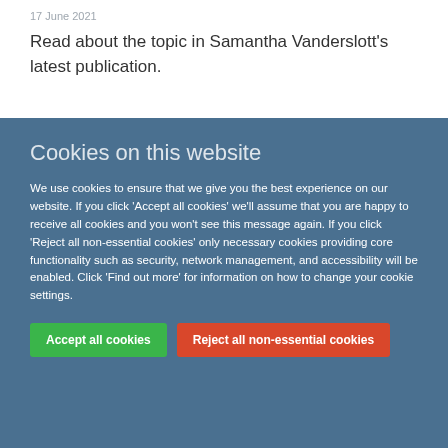17 June 2021
Read about the topic in Samantha Vanderslott's latest publication.
Cookies on this website
We use cookies to ensure that we give you the best experience on our website. If you click 'Accept all cookies' we'll assume that you are happy to receive all cookies and you won't see this message again. If you click 'Reject all non-essential cookies' only necessary cookies providing core functionality such as security, network management, and accessibility will be enabled. Click 'Find out more' for information on how to change your cookie settings.
Accept all cookies
Reject all non-essential cookies